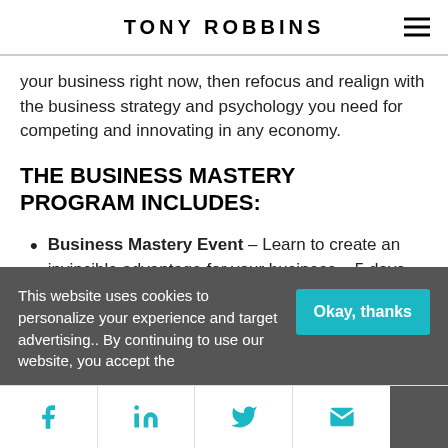TONY ROBBINS
your business right now, then refocus and realign with the business strategy and psychology you need for competing and innovating in any economy.
THE BUSINESS MASTERY PROGRAM INCLUDES:
Business Mastery Event – Learn to create an invincible advantage for your business – 5 days LIVE with Tony Robbins and the
This website uses cookies to personalize your experience and target advertising.. By continuing to use our website, you accept the
Okay, thanks